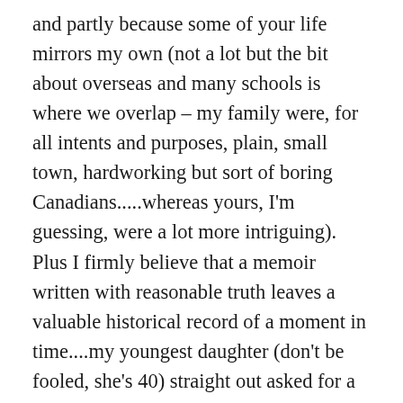and partly because some of your life mirrors my own (not a lot but the bit about overseas and many schools is where we overlap – my family were, for all intents and purposes, plain, small town, hardworking but sort of boring Canadians.....whereas yours, I'm guessing, were a lot more intriguing). Plus I firmly believe that a memoir written with reasonable truth leaves a valuable historical record of a moment in time....my youngest daughter (don't be fooled, she's 40) straight out asked for a journal like memory book of my time as a teenager in West Pakistan....with stories, sketches, collage type mementos....her birthday is in January, I may not make the deadline but I'll give it a shot! You, on the other hand, have the publishing